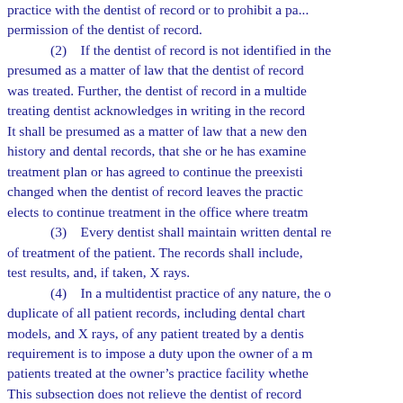practice with the dentist of record or to prohibit a pa... permission of the dentist of record. (2) If the dentist of record is not identified in the... presumed as a matter of law that the dentist of record... was treated. Further, the dentist of record in a multide... treating dentist acknowledges in writing in the record... It shall be presumed as a matter of law that a new de... history and dental records, that she or he has examine... treatment plan or has agreed to continue the preexisti... changed when the dentist of record leaves the practic... elects to continue treatment in the office where treatm... (3) Every dentist shall maintain written dental re... of treatment of the patient. The records shall include,... test results, and, if taken, X rays. (4) In a multidentist practice of any nature, the o... duplicate of all patient records, including dental chart... models, and X rays, of any patient treated by a dentis... requirement is to impose a duty upon the owner of a m... patients treated at the owner's practice facility whethe... This subsection does not relieve the dentist of record... patient records. An owner dentist of a multidentist pra... original or duplicate patient records for patients treate... the patient or the patient's legal representative, she or...